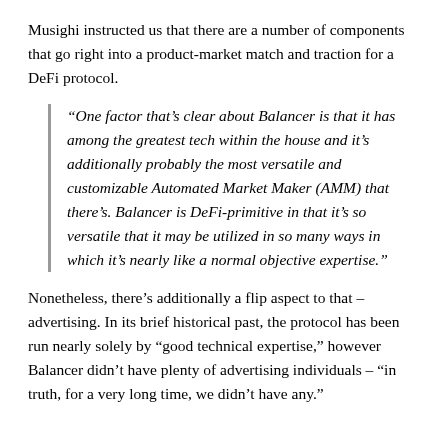Musighi instructed us that there are a number of components that go right into a product-market match and traction for a DeFi protocol.
“One factor that’s clear about Balancer is that it has among the greatest tech within the house and it’s additionally probably the most versatile and customizable Automated Market Maker (AMM) that there’s. Balancer is DeFi-primitive in that it’s so versatile that it may be utilized in so many ways in which it’s nearly like a normal objective expertise.”
Nonetheless, there’s additionally a flip aspect to that – advertising. In its brief historical past, the protocol has been run nearly solely by “good technical expertise,” however Balancer didn’t have plenty of advertising individuals – “in truth, for a very long time, we didn’t have any.”